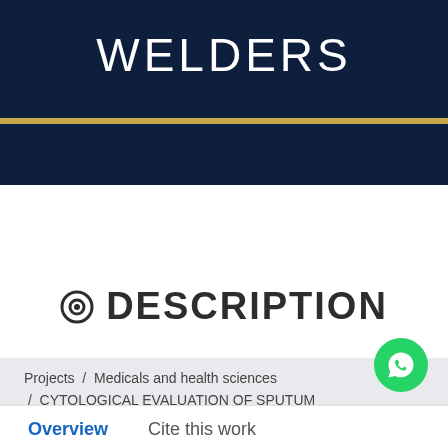WELDERS
⊙ DESCRIPTION
Projects / Medicals and health sciences / CYTOLOGICAL EVALUATION OF SPUTUM SAMPLES IN WELDERS
Overview   Cite this work